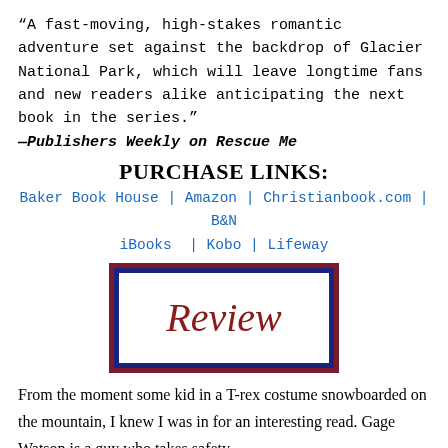“A fast-moving, high-stakes romantic adventure set against the backdrop of Glacier National Park, which will leave longtime fans and new readers alike anticipating the next book in the series.”
—Publishers Weekly on Rescue Me
PURCHASE LINKS:
Baker Book House | Amazon | Christianbook.com | B&N iBooks | Kobo | Lifeway
[Figure (other): A decorative 'Review' badge with a dark red outer border, dark navy blue inner border, and white interior containing the word 'Review' in large red italic cursive script.]
From the moment some kid in a T-rex costume snowboarded on the mountain, I knew I was in for an interesting read. Gage Watson is a guy who takes safety